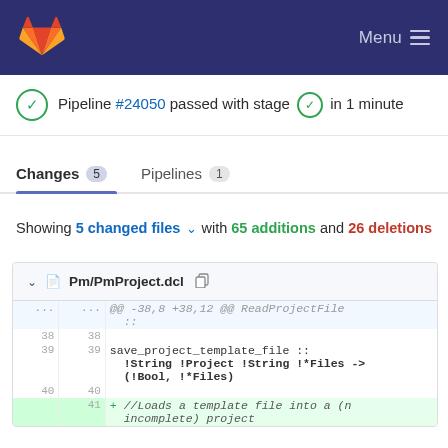GitLab Menu
Pipeline #24050 passed with stage ✓ in 1 minute
Changes 5   Pipelines 1
Showing 5 changed files with 65 additions and 26 deletions
[Figure (screenshot): Diff view of Pm/PmProject.dcl showing lines 38-41 with code changes including save_project_template_file and a new addition line for //Loads a template file into a (n incomplete) project]
@@ -38,8 +38,12 @@ ReadProjectFile ::
38  38
39  39  save_project_template_file :: !String !Project !String !*Files -> (!Bool, !*Files)
40  40
   41  + //Loads a template file into a (n incomplete) project